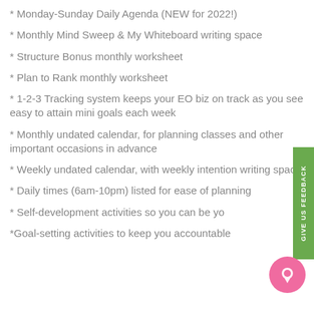* Monday-Sunday Daily Agenda (NEW for 2022!)
* Monthly Mind Sweep & My Whiteboard writing space
* Structure Bonus monthly worksheet
* Plan to Rank monthly worksheet
* 1-2-3 Tracking system keeps your EO biz on track as you see easy to attain mini goals each week
* Monthly undated calendar, for planning classes and other important occasions in advance
* Weekly undated calendar, with weekly intention writing space
* Daily times (6am-10pm) listed for ease of planning
* Self-development activities so you can be yo...
*Goal-setting activities to keep you accountable